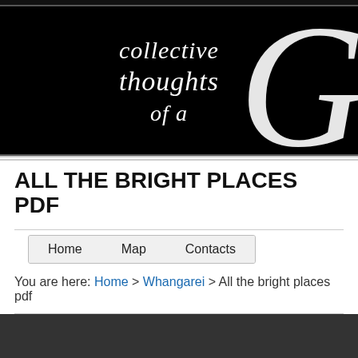[Figure (illustration): Black banner with decorative italic script text reading 'collective thoughts of a' and a large decorative letter G on the right side]
ALL THE BRIGHT PLACES PDF
Home
Map
Contacts
You are here: Home > Whangarei > All the bright places pdf